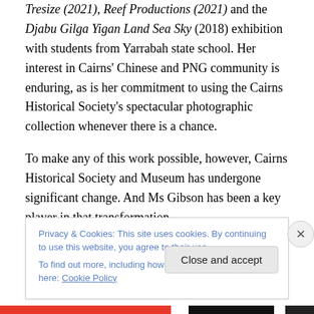Tresize (2021), Reef Productions (2021) and the Djabu Gilga Yigan Land Sea Sky (2018) exhibition with students from Yarrabah state school. Her interest in Cairns' Chinese and PNG community is enduring, as is her commitment to using the Cairns Historical Society's spectacular photographic collection whenever there is a chance.
To make any of this work possible, however, Cairns Historical Society and Museum has undergone significant change. And Ms Gibson has been a key player in that transformation.
Privacy & Cookies: This site uses cookies. By continuing to use this website, you agree to their use.
To find out more, including how to control cookies, see here: Cookie Policy